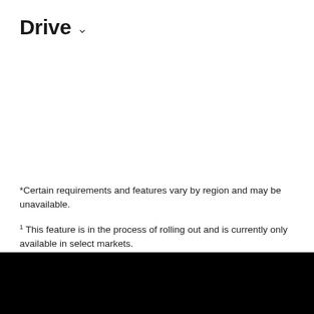Drive ∨
*Certain requirements and features vary by region and may be unavailable.
1 This feature is in the process of rolling out and is currently only available in select markets.